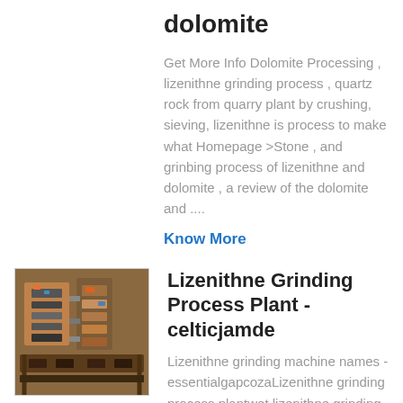dolomite
Get More Info Dolomite Processing , lizenithne grinding process , quartz rock from quarry plant by crushing, sieving, lizenithne is process to make what Homepage >Stone , and grinbing process of lizenithne and dolomite , a review of the dolomite and ....
Know More
[Figure (photo): Industrial grinding machine or plant equipment photo thumbnail]
Lizenithne Grinding Process Plant - celticjamde
Lizenithne grinding machine names - essentialgapcozaLizenithne grinding process plantwet lizenithne grinding mill india , crusher plant s owner name list in raipur crusher machine in raipur name and contact no , get price lizenithne powder price - accmet-projecteu 30 jul 2014 li ne crusher grinding machine